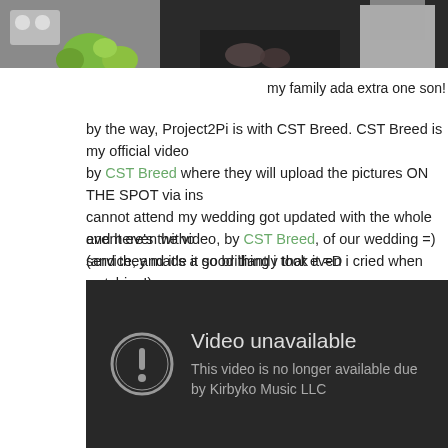[Figure (photo): Top photo strip showing partial wedding/event images with green floral decorations and clothing]
my family ada extra one son!
by the way, Project2Pi is with CST Breed. CST Breed is my official video by CST Breed where they will upload the pictures ON THE SPOT via ins cannot attend my wedding got updated with the whole event even witho service, and it's a good thing i took it =D
and here's the video, by CST Breed, of our wedding =)
(and they made it so brilliantly that even i cried when watching!)
[Figure (screenshot): Embedded video player showing 'Video unavailable - This video is no longer available due to a copyright claim by Kirbyko Music LLC' error message on dark background]